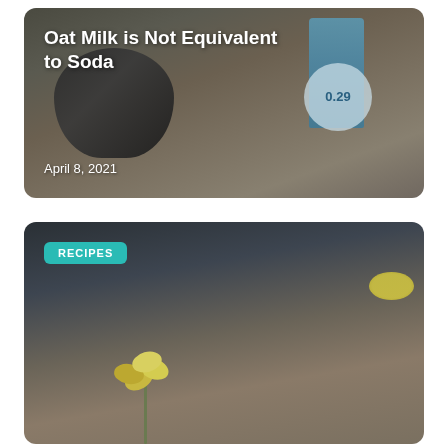[Figure (photo): Top card showing a dark ceramic coffee mug next to a blue oat milk carton with '0.29' badge, on a granite countertop, with overlay text 'Oat Milk is Not Equivalent to Soda' and date 'April 8, 2021']
Oat Milk is Not Equivalent to Soda
April 8, 2021
[Figure (photo): Bottom card with RECIPES badge on teal background, showing flowers and a lemon slice in a moody kitchen scene]